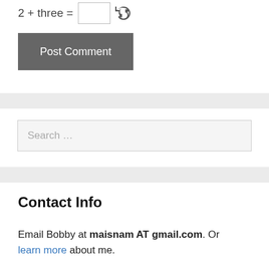2 + three =
Post Comment
Search ...
Contact Info
Email Bobby at maisnam AT gmail.com. Or learn more about me.